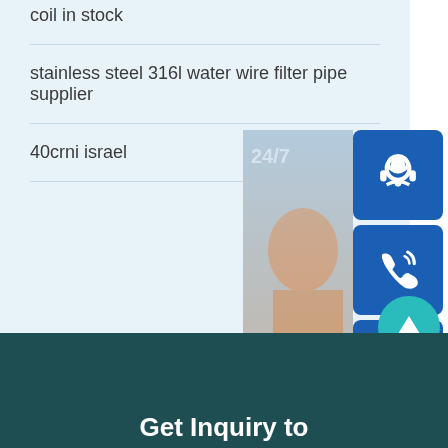coil in stock
stainless steel 316l water wire filter pipe supplier
40crni israel
[Figure (photo): Customer service representative with headset, with chat widget overlay showing 24/7 support button, phone icon, Skype icon, and online live button]
Get Inquiry to